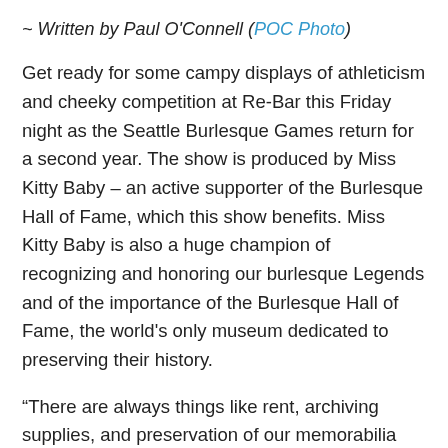~ Written by Paul O'Connell (POC Photo)
Get ready for some campy displays of athleticism and cheeky competition at Re-Bar this Friday night as the Seattle Burlesque Games return for a second year. The show is produced by Miss Kitty Baby – an active supporter of the Burlesque Hall of Fame, which this show benefits. Miss Kitty Baby is also a huge champion of recognizing and honoring our burlesque Legends and of the importance of the Burlesque Hall of Fame, the world's only museum dedicated to preserving their history.
“There are always things like rent, archiving supplies, and preservation of our memorabilia that can benefit from our donation,” Miss Kitty Baby explained last year on the relevance of fundraising for the museum. “Burlesque has a unique grasp on our history in a way not many art forms or